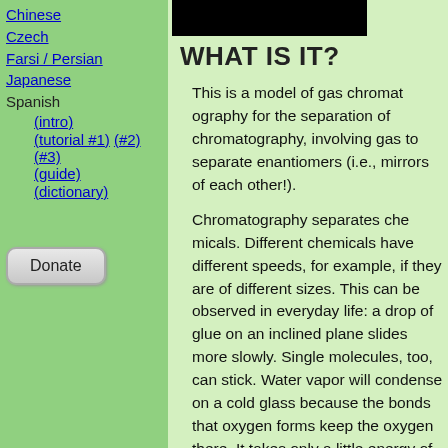Chinese
Czech
Farsi / Persian
Japanese
Spanish
(intro)
(tutorial #1) (#2) (#3)
(guide)
(dictionary)
[Figure (other): Black banner image at top of right column]
WHAT IS IT?
This is a model of gas chroma... chromatography for the separa... of chromatography, involving ga... to separate enantiomers (i.e., m... each other!).
Chromatography separates che... Different chemicals have differe... example, if they are of different... This can be observed in everyd... drop of glue on an inclined pla... was. Single molecules, too, ca... vapor will condense on a cold g... because the bonds that oxyge... the oxygen there. It takes only ... of molecules to separate them.
Practically, in gas chromatogra... medium, which acts as the stic... holes in it -- like swiss cheese,... allow molecules to pass from...